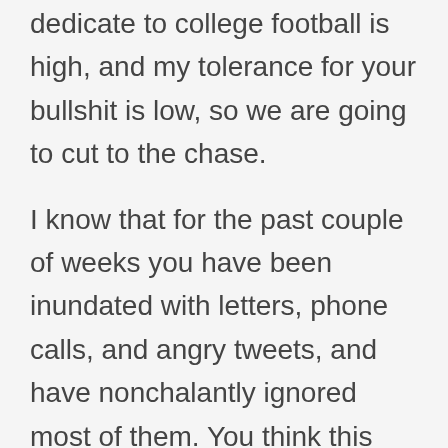dedicate to college football is high, and my tolerance for your bullshit is low, so we are going to cut to the chase.
I know that for the past couple of weeks you have been inundated with letters, phone calls, and angry tweets, and have nonchalantly ignored most of them. You think this letter is simply another for the dumpster that is currently flaming uncontrollably at your headquarters. That is where you will (continue to) be wrong. If you are smart (now that I type that out, I realize that this is likely a pipe dream), you will succumb to my demands even faster than Chase Young returned from his detrimental suspension from his Maryland and Rutgers games in 2019.